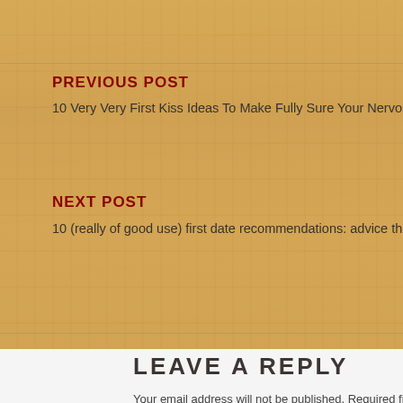PREVIOUS POST
10 Very Very First Kiss Ideas To Make Fully Sure Your Nervous Lips Do N
NEXT POST
10 (really of good use) first date recommendations: advice through the sp
LEAVE A REPLY
Your email address will not be published. Required fields are mark
Comment